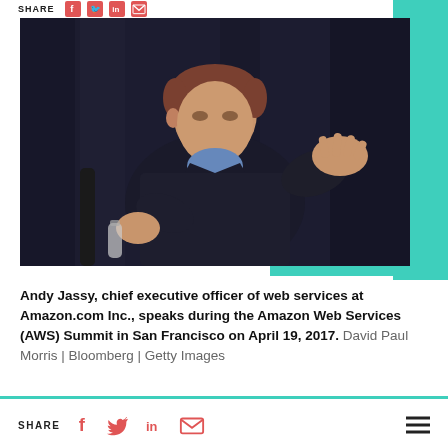SHARE
[Figure (photo): Andy Jassy, chief executive officer of web services at Amazon.com Inc., speaks during the Amazon Web Services (AWS) Summit in San Francisco on April 19, 2017. Man in dark suit gesturing with hands on stage.]
Andy Jassy, chief executive officer of web services at Amazon.com Inc., speaks during the Amazon Web Services (AWS) Summit in San Francisco on April 19, 2017. David Paul Morris | Bloomberg | Getty Images
SHARE